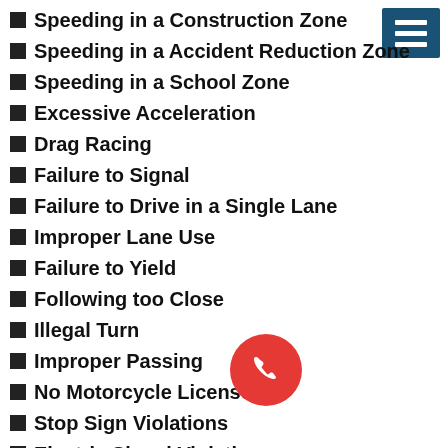Speeding in a Construction Zone
Speeding in a Accident Reduction Zone
Speeding in a School Zone
Excessive Acceleration
Drag Racing
Failure to Signal
Failure to Drive in a Single Lane
Improper Lane Use
Failure to Yield
Following too Close
Illegal Turn
Improper Passing
No Motorcycle License
Stop Sign Violations
Electric Signal Violations
Driving While Intoxicated – DWI
Driving Under the Influence – DUI